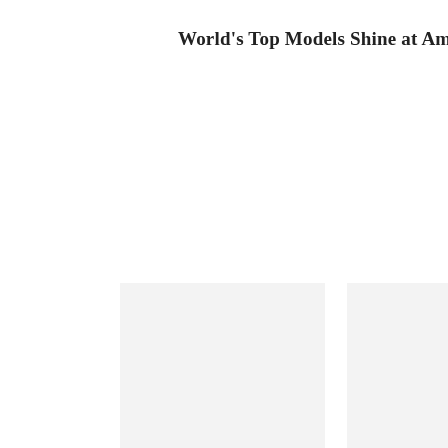World's Top Models Shine at AmFar Gal
[Figure (photo): Photo placeholder 1 - light gray rectangle]
[Figure (photo): Photo placeholder 2 - light gray rectangle]